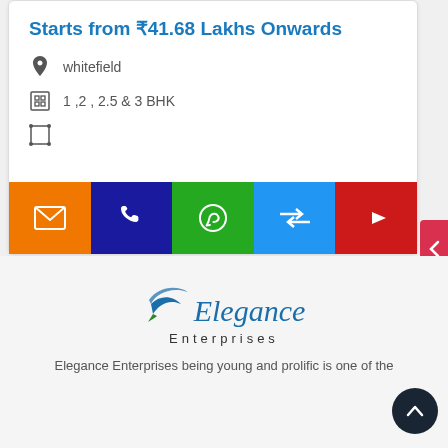Starts from ₹41.68 Lakhs Onwards
whitefield
1 ,2 , 2.5 & 3 BHK
[Figure (infographic): Action bar with 5 colored buttons: email (orange), phone (navy), WhatsApp (green), compare (blue), YouTube (red)]
[Figure (logo): Elegance Enterprises logo with stylized bird and italic script text]
Elegance Enterprises being young and prolific is one of the